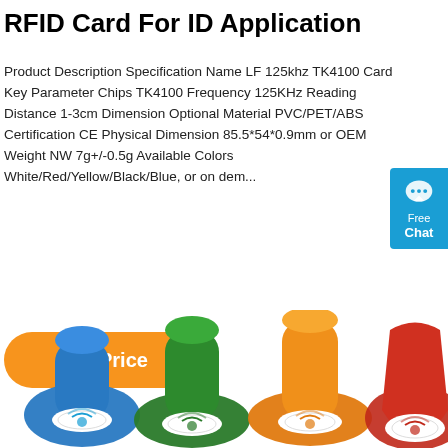RFID Card For ID Application
Product Description Specification Name LF 125khz TK4100 Card Key Parameter Chips TK4100 Frequency 125KHz Reading Distance 1-3cm Dimension Optional Material PVC/PET/ABS Certification CE Physical Dimension 85.5*54*0.9mm or OEM Weight NW 7g+/-0.5g Available Colors White/Red/Yellow/Black/Blue, or on dem...
[Figure (other): Blue chat bubble icon widget with 'Free Chat' label on a blue background]
[Figure (other): Orange rounded rectangle 'Get Price' button]
[Figure (photo): Photo of four colored RFID silicone wristbands in blue, green, orange, and red, each with a white circular RFID tag at the bottom]